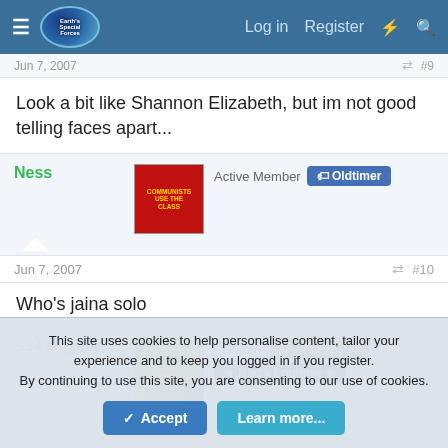Earth's Special Forces forum header with Log in, Register, and search navigation
Jun 7, 2007  #9
Look a bit like Shannon Elizabeth, but im not good telling faces apart...
Ness  Active Member  Oldtimer
Jun 7, 2007  #10
Who's jaina solo
SS4 Gogeta  ~Gurbir~  Beta Tester  Black Lounger
This site uses cookies to help personalise content, tailor your experience and to keep you logged in if you register.
By continuing to use this site, you are consenting to our use of cookies.
Accept  Learn more...